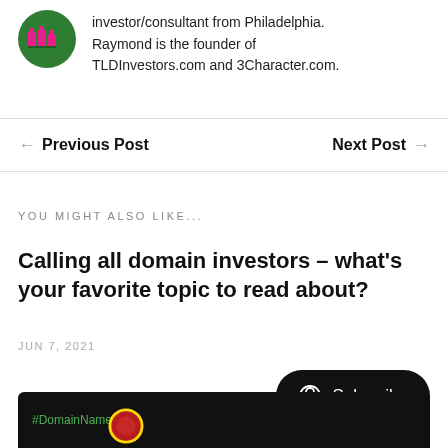[Figure (illustration): Green circular avatar with pink pixel-art buildings/icons]
investor/consultant from Philadelphia. Raymond is the founder of TLDInvestors.com and 3Character.com.
← Previous Post
Next Post →
YOU MIGHT ALSO LIKE...
Calling all domain investors – what's your favorite topic to read about?
JUN 7, 2021
[Figure (screenshot): Dark background blog post preview with #DomainNames hashtag in green and a medal/badge image]